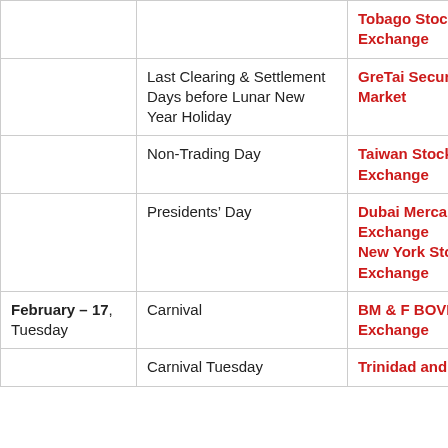| Date | Event | Exchange |
| --- | --- | --- |
|  |  | Tobago Stock Exchange |
|  | Last Clearing & Settlement Days before Lunar New Year Holiday | GreTai Securities Market |
|  | Non-Trading Day | Taiwan Stock Exchange |
|  | Presidents' Day | Dubai Mercantile Exchange
New York Stock Exchange |
| February – 17, Tuesday | Carnival | BM & F BOVESPA Exchange |
|  | Carnival Tuesday | Trinidad and ... |